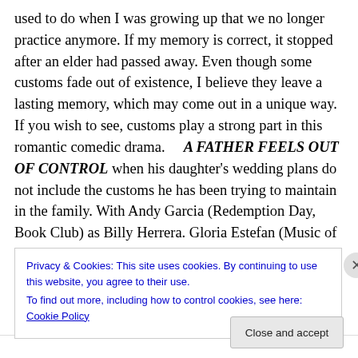used to do when I was growing up that we no longer practice anymore. If my memory is correct, it stopped after an elder had passed away. Even though some customs fade out of existence, I believe they leave a lasting memory, which may come out in a unique way. If you wish to see, customs play a strong part in this romantic comedic drama. A FATHER FEELS OUT OF CONTROL when his daughter's wedding plans do not include the customs he has been trying to maintain in the family. With Andy Garcia (Redemption Day, Book Club) as Billy Herrera. Gloria Estefan (Music of the Heart, Glee-TV)
Privacy & Cookies: This site uses cookies. By continuing to use this website, you agree to their use.
To find out more, including how to control cookies, see here: Cookie Policy
Close and accept